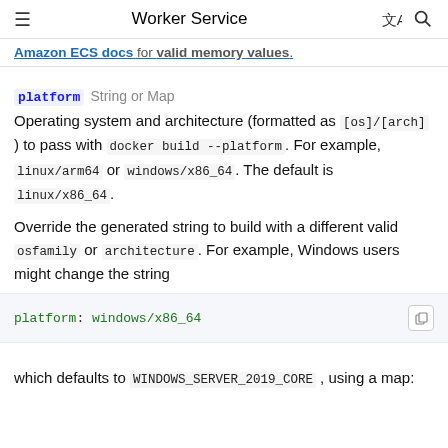Worker Service
Amazon ECS docs for valid memory values.
platform  String or Map
Operating system and architecture (formatted as [os]/[arch] ) to pass with docker build --platform. For example, linux/arm64 or windows/x86_64. The default is linux/x86_64.
Override the generated string to build with a different valid osfamily or architecture. For example, Windows users might change the string
platform: windows/x86_64
which defaults to WINDOWS_SERVER_2019_CORE , using a map: